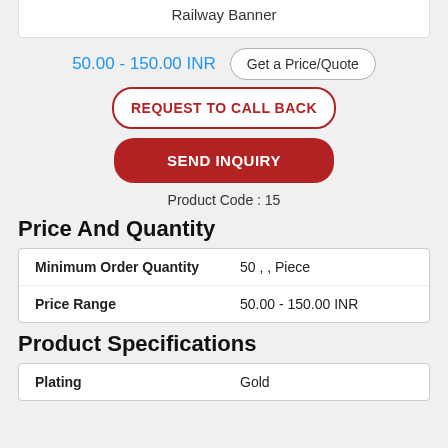Railway Banner
50.00 - 150.00 INR
Get a Price/Quote
REQUEST TO CALL BACK
SEND INQUIRY
Product Code : 15
Price And Quantity
|  |  |
| --- | --- |
| Minimum Order Quantity | 50 , , Piece |
| Price Range | 50.00 - 150.00 INR |
Product Specifications
|  |  |
| --- | --- |
| Plating | Gold |